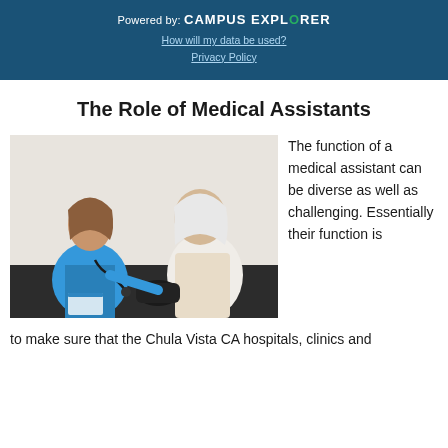Powered by: CAMPUS EXPLORER
How will my data be used?
Privacy Policy
The Role of Medical Assistants
[Figure (photo): A young female medical assistant in blue scrubs taking blood pressure of an older woman with white hair, both seated on a dark couch.]
The function of a medical assistant can be diverse as well as challenging. Essentially their function is to make sure that the Chula Vista CA hospitals, clinics and